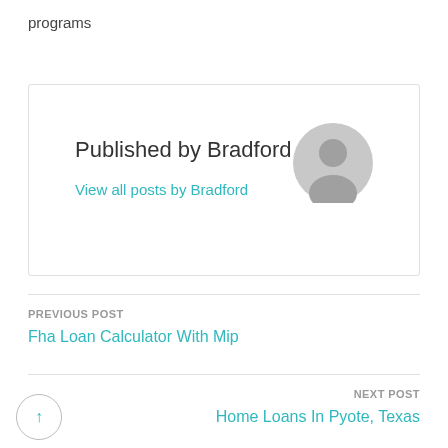programs
Published by Bradford
View all posts by Bradford
PREVIOUS POST
Fha Loan Calculator With Mip
NEXT POST
Home Loans In Pyote, Texas